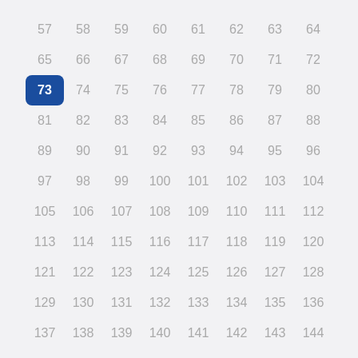57 58 59 60 61 62 63 64
65 66 67 68 69 70 71 72
73 74 75 76 77 78 79 80
81 82 83 84 85 86 87 88
89 90 91 92 93 94 95 96
97 98 99 100 101 102 103 104
105 106 107 108 109 110 111 112
113 114 115 116 117 118 119 120
121 122 123 124 125 126 127 128
129 130 131 132 133 134 135 136
137 138 139 140 141 142 143 144
145 146 147 148 149 150 151 152
153 154 155 156 157 158 159 160